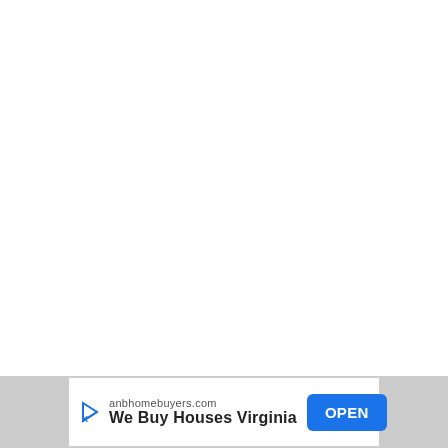[Figure (other): Large white blank area taking up most of the page, representing empty web page content area]
anbhomebuyers.com We Buy Houses Virginia OPEN